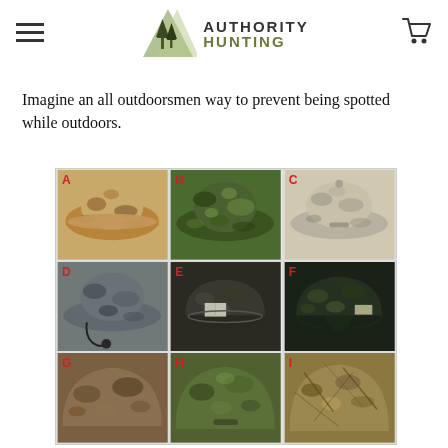Authority Hunting — navigation header with logo, hamburger menu, and cart icon
Imagine an all outdoorsmen way to prevent being spotted while outdoors.
[Figure (photo): 3x3 grid of camouflage hunting hats labeled A through I. Row 1: A (boonie hat, tan/brown camo), B (boonie hat, green leafy camo), C (boonie hat, tan/grey camo). Row 2: D (boonie hat with chin cord, grey camo), E (baseball cap, dark camo), F (baseball cap, dark leafy camo). Row 3: G (baseball cap, brown camo, partial), H (baseball cap, green leafy camo, partial), I (ghillie-style cap, partial).]